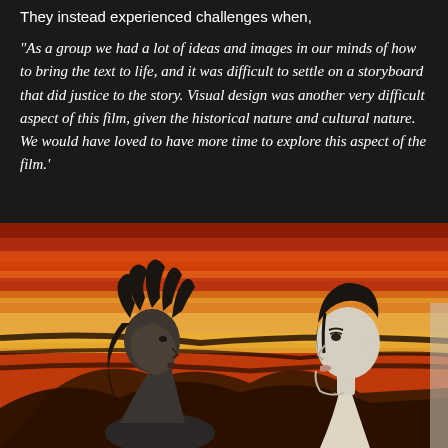They instead experienced challenges when,
“As a group we had a lot of ideas and images in our minds of how to bring the text to life, and it was difficult to settle on a storyboard that did justice to the story. Visual design was another very difficult aspect of this film, given the historical nature and cultural nature. We would have loved to have more time to explore this aspect of the film.’
[Figure (illustration): Animated film still showing two characters facing each other against a dramatic red and orange fiery landscape background. On the left is a dark-skinned figure with wild hair shown in profile. On the right is a lighter-skinned figure with straight black hair shown in profile facing left. The background features volcanic or fire-lit hills and streaked red sky.]